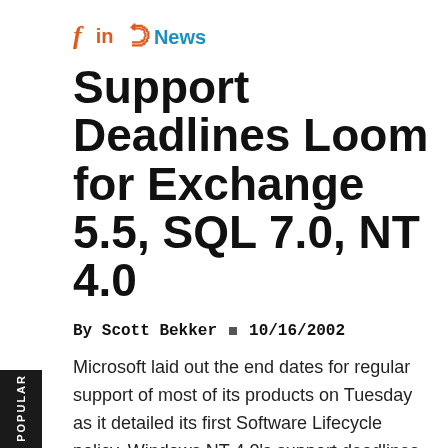f  in  y
News
Support Deadlines Loom for Exchange 5.5, SQL 7.0, NT 4.0
By Scott Bekker  ■  10/16/2002
Microsoft laid out the end dates for regular support of most of its products on Tuesday as it detailed its first Software Lifecycle policy. Windows NT 4.0's support deadlines stayed consistent with what the software giant announced last December.